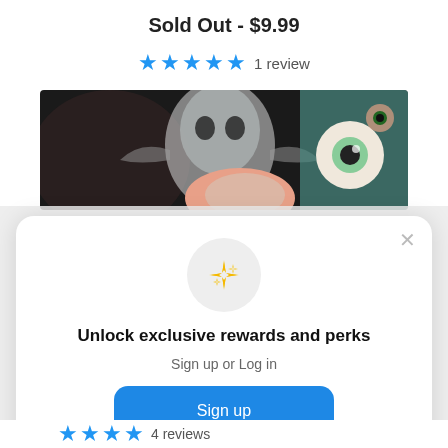Sold Out - $9.99
★★★★★ 1 review
[Figure (photo): Product artwork showing surreal/horror style illustration with skull-like figures, eyeballs, and colorful abstract elements on dark background]
[Figure (illustration): Modal popup with sparkle/star icon in gray circle]
Unlock exclusive rewards and perks
Sign up or Log in
Sign up
Already have an account? Sign in
★★★★ 4 reviews